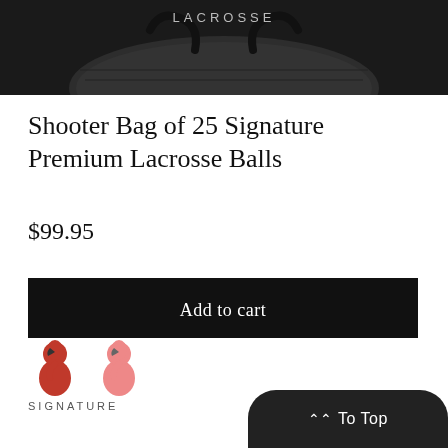[Figure (photo): Dark black lacrosse bag with LACROSSE text on it, shot from above against dark background]
Shooter Bag of 25 Signature Premium Lacrosse Balls
$99.95
Add to cart
[Figure (logo): Signature brand logo with two flamingo icons (one red, one pink) and SIGNATURE text below]
To Top